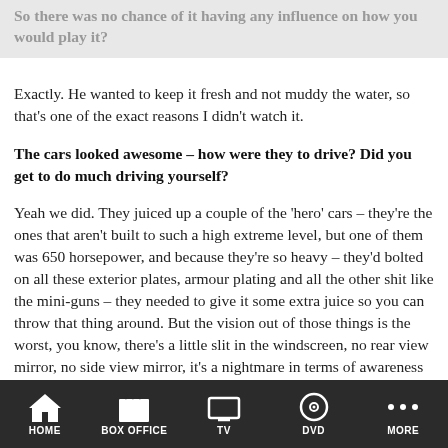So there was no chance of it having any influence on how you would play it?
Exactly. He wanted to keep it fresh and not muddy the water, so that's one of the exact reasons I didn't watch it.
The cars looked awesome – how were they to drive? Did you get to do much driving yourself?
Yeah we did. They juiced up a couple of the 'hero' cars – they're the ones that aren't built to such a high extreme level, but one of them was 650 horsepower, and because they're so heavy – they'd bolted on all these exterior plates, armour plating and all the other shit like the mini-guns – they needed to give it some extra juice so you can throw that thing around. But the vision out of those things is the worst, you know, there's a little slit in the windscreen, no rear view mirror, no side view mirror, it's a nightmare in terms of awareness of where your fellow drivers are. There were a lot of collisions, bumps and bangs but still a lot of fun.
HOME | BOX OFFICE | TV | DVD | MORE